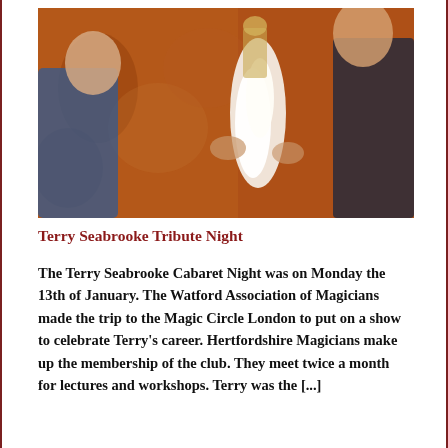[Figure (photo): Photo of a magician performing, showing a person in a dark suit apparently doing a flame or fire trick, with a decorative patterned background and another person visible at the edge.]
Terry Seabrooke Tribute Night
The Terry Seabrooke Cabaret Night was on Monday the 13th of January. The Watford Association of Magicians made the trip to the Magic Circle London to put on a show to celebrate Terry's career. Hertfordshire Magicians make up the membership of the club. They meet twice a month for lectures and workshops. Terry was the [...]